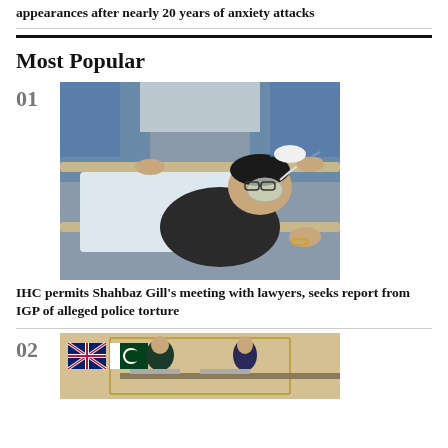appearances after nearly 20 years of anxiety attacks
Most Popular
01
[Figure (photo): Person lying on hospital stretcher with oxygen mask, surrounded by people in blue shirts]
IHC permits Shahbaz Gill's meeting with lawyers, seeks report from IGP of alleged police torture
02
[Figure (photo): Two people at a formal meeting with UK and Pakistan flags visible in background]